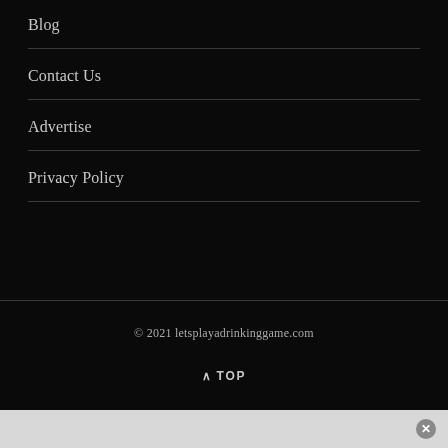Blog
Contact Us
Advertise
Privacy Policy
© 2021 letsplayadrinkinggame.com
^ TOP